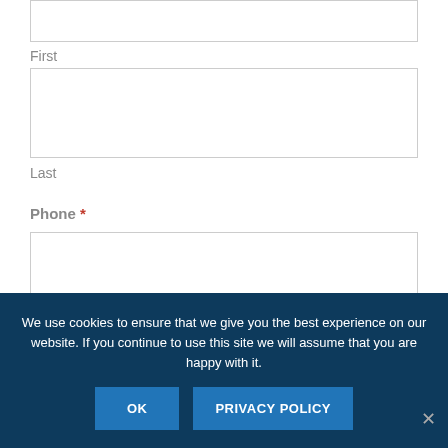First
Last
Phone *
Email *
We use cookies to ensure that we give you the best experience on our website. If you continue to use this site we will assume that you are happy with it.
OK
PRIVACY POLICY